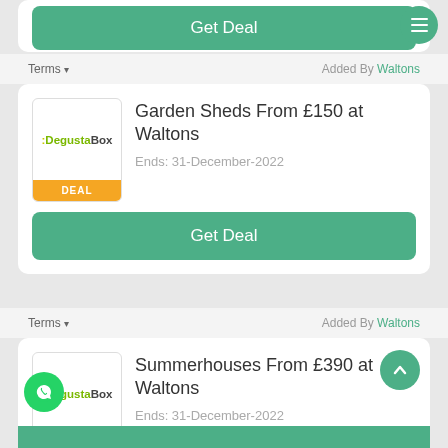[Figure (screenshot): Top partial card with Get Deal green button and hamburger menu icon]
Terms ▾    Added By Waltons
[Figure (screenshot): Deal card for Garden Sheds From £150 at Waltons with Degusta Box logo, Ends: 31-December-2022, and Get Deal button]
Terms ▾    Added By Waltons
[Figure (screenshot): Deal card for Summerhouses From £390 at Waltons with Degusta Box logo, Ends: 31-December-2022, scroll-to-top button, WhatsApp button, and partial Get Deal button]